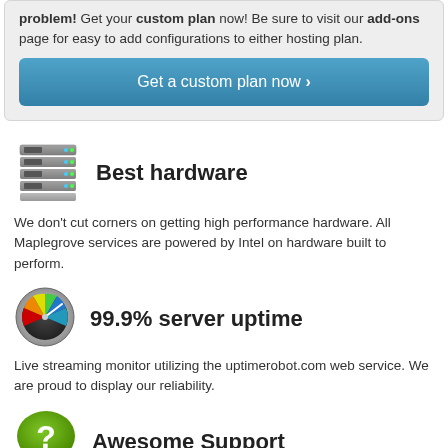problem! Get your custom plan now! Be sure to visit our add-ons page for easy to add configurations to either hosting plan.
Get a custom plan now ›
Best hardware
We don't cut corners on getting high performance hardware.  All Maplegrove services are powered by Intel on hardware built to perform.
99.9% server uptime
Live streaming monitor utilizing the uptimerobot.com web service. We are proud to display our reliability.
Awesome Support
Get personalized support that doesn't involve complex 1-800